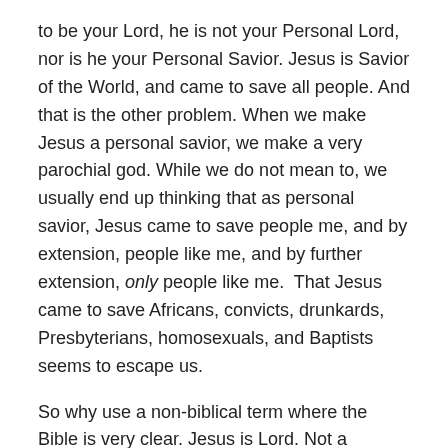to be your Lord, he is not your Personal Lord, nor is he your Personal Savior. Jesus is Savior of the World, and came to save all people. And that is the other problem. When we make Jesus a personal savior, we make a very parochial god. While we do not mean to, we usually end up thinking that as personal savior, Jesus came to save people me, and by extension, people like me, and by further extension, only people like me.  That Jesus came to save Africans, convicts, drunkards, Presbyterians, homosexuals, and Baptists seems to escape us.
So why use a non-biblical term where the Bible is very clear. Jesus is Lord. Not a personal savior.  Clearly Jesus is a savior, and does save individuals, but he came, not for individuals but for all humanity. For God so loved the world…